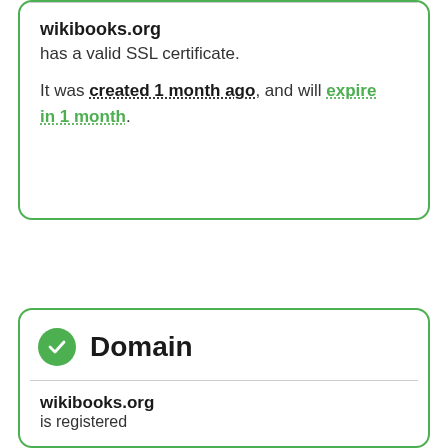wikibooks.org has a valid SSL certificate. It was created 1 month ago, and will expire in 1 month.
Domain
wikibooks.org is registered